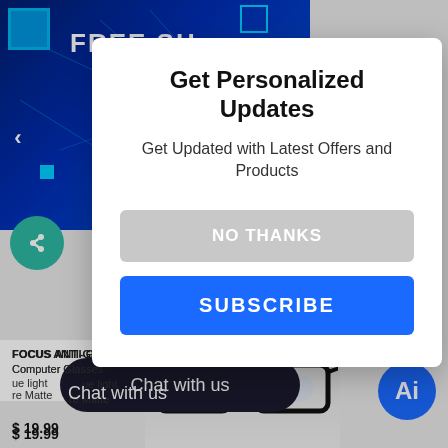[Figure (screenshot): Background e-commerce website screenshot with dark blue tech banner showing 'FREE SH...' text, search bar, glasses product image, and product details for FOCUS ANTI-GLARE Computer Glasses priced at $19.99]
Get Personalized Updates
Get Updated with Latest Offers and Products
NO THANKS
SUBSCRIBE
FOCUS ANTI-GLARE
Computer Glasses
blue light
re Matte
$ 19.99
Chat with us